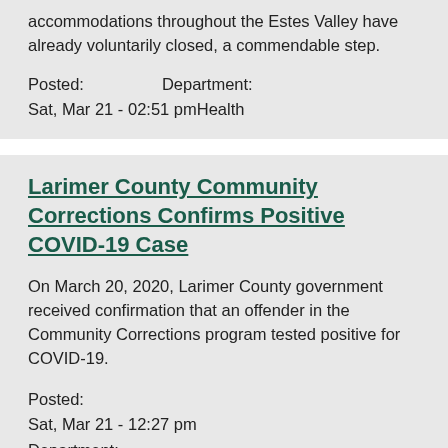accommodations throughout the Estes Valley have already voluntarily closed, a commendable step.
Posted: Department:
Sat, Mar 21 - 02:51 pmHealth
Larimer County Community Corrections Confirms Positive COVID-19 Case
On March 20, 2020, Larimer County government received confirmation that an offender in the Community Corrections program tested positive for COVID-19.
Posted:
Sat, Mar 21 - 12:27 pm
Department: